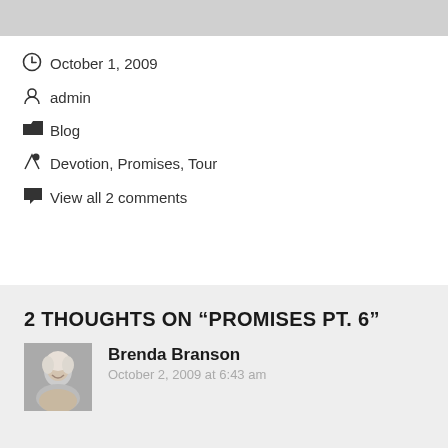October 1, 2009
admin
Blog
Devotion, Promises, Tour
View all 2 comments
2 THOUGHTS ON “PROMISES PT. 6”
Brenda Branson
October 2, 2009 at 6:43 am